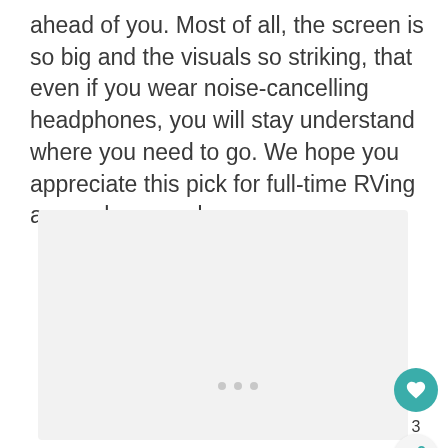ahead of you. Most of all, the screen is so big and the visuals so striking, that even if you wear noise-cancelling headphones, you will stay understand where you need to go. We hope you appreciate this pick for full-time RVing as much as we do.
[Figure (photo): A large light gray placeholder image rectangle, with three small gray dots at the bottom center indicating an image carousel or loading state.]